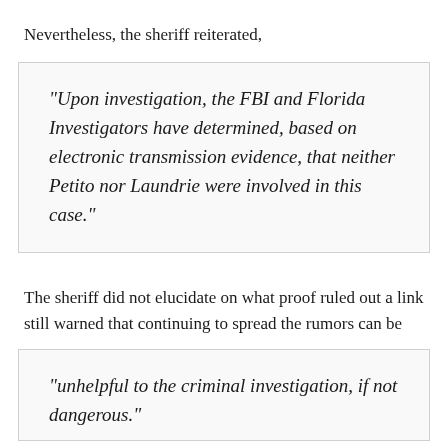Nevertheless, the sheriff reiterated,
“Upon investigation, the FBI and Florida Investigators have determined, based on electronic transmission evidence, that neither Petito nor Laundrie were involved in this case.”
The sheriff did not elucidate on what proof ruled out a link still warned that continuing to spread the rumors can be
“unhelpful to the criminal investigation, if not dangerous.”